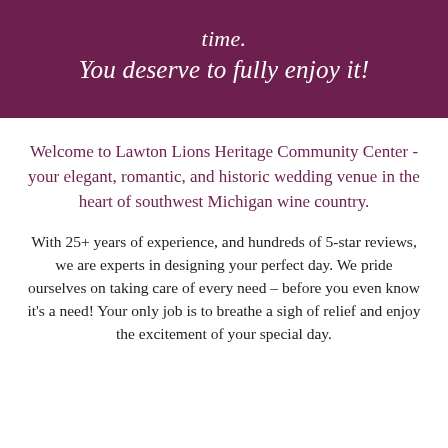time.
You deserve to fully enjoy it!
Welcome to Lawton Lions Heritage Community Center - your elegant, romantic, and historic wedding venue in the heart of southwest Michigan wine country.
With 25+ years of experience, and hundreds of 5-star reviews, we are experts in designing your perfect day. We pride ourselves on taking care of every need – before you even know it's a need! Your only job is to breathe a sigh of relief and enjoy the excitement of your special day.